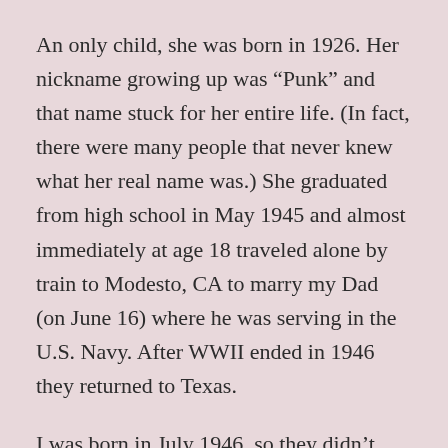An only child, she was born in 1926.  Her nickname growing up was “Punk” and that name stuck for her entire life.  (In fact, there were many people that never knew what her real name was.)  She graduated from high school in May 1945 and almost immediately at age 18 traveled alone by train to Modesto, CA to marry my Dad (on June 16) where he was serving in the U.S. Navy.  After WWII ended in 1946 they returned to Texas.
I was born in July 1946, so they didn’t have a lot of time to experience a “normal” life before the grind was upon them.  I know that for a while we lived next door to my Mom’s parents then over